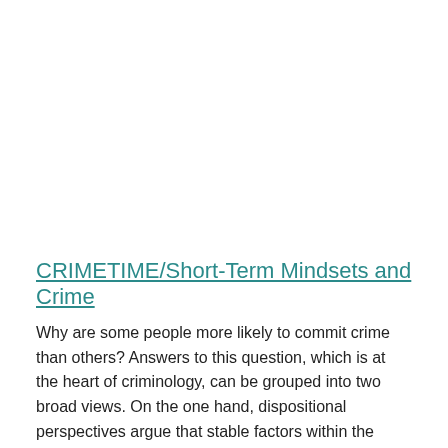CRIMETIME/Short-Term Mindsets and Crime
Why are some people more likely to commit crime than others? Answers to this question, which is at the heart of criminology, can be grouped into two broad views. On the one hand, dispositional perspectives argue that stable factors within the individual, such as lack of self-control, lie at the roots of criminal conduct. Sociogenic perspec-